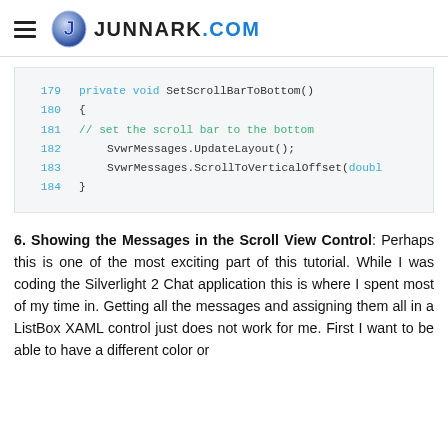JUNNARK.COM
[Figure (screenshot): Code block showing C# method SetScrollBarToBottom with line numbers 179-184]
6. Showing the Messages in the Scroll View Control: Perhaps this is one of the most exciting part of this tutorial. While I was coding the Silverlight 2 Chat application this is where I spent most of my time in. Getting all the messages and assigning them all in a ListBox XAML control just does not work for me. First I want to be able to have a different color or